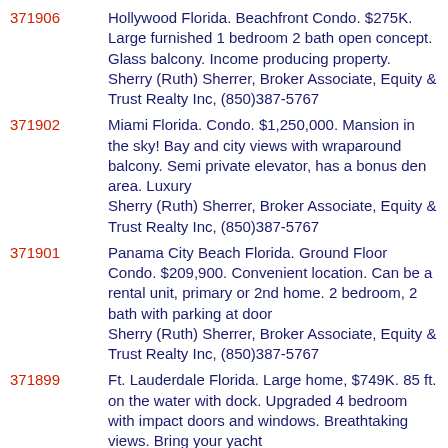371906 — Hollywood Florida. Beachfront Condo. $275K. Large furnished 1 bedroom 2 bath open concept. Glass balcony. Income producing property. Sherry (Ruth) Sherrer, Broker Associate, Equity & Trust Realty Inc, (850)387-5767
371902 — Miami Florida. Condo. $1,250,000. Mansion in the sky! Bay and city views with wraparound balcony. Semi private elevator, has a bonus den area. Luxury Sherry (Ruth) Sherrer, Broker Associate, Equity & Trust Realty Inc, (850)387-5767
371901 — Panama City Beach Florida. Ground Floor Condo. $209,900. Convenient location. Can be a rental unit, primary or 2nd home. 2 bedroom, 2 bath with parking at door Sherry (Ruth) Sherrer, Broker Associate, Equity & Trust Realty Inc, (850)387-5767
371899 — Ft. Lauderdale Florida. Large home, $749K. 85 ft. on the water with dock. Upgraded 4 bedroom with impact doors and windows. Breathtaking views. Bring your yacht Sherry (Ruth) Sherrer, Broker Associate, Equity & Trust Realty Inc, (850)387-5767